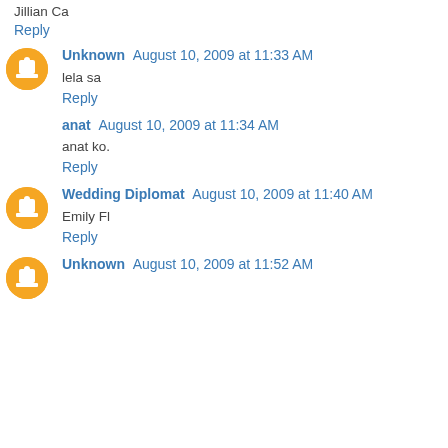Jillian Ca
Reply
Unknown  August 10, 2009 at 11:33 AM
lela sa
Reply
anat  August 10, 2009 at 11:34 AM
anat ko.
Reply
Wedding Diplomat  August 10, 2009 at 11:40 AM
Emily Fl
Reply
Unknown  August 10, 2009 at 11:52 AM